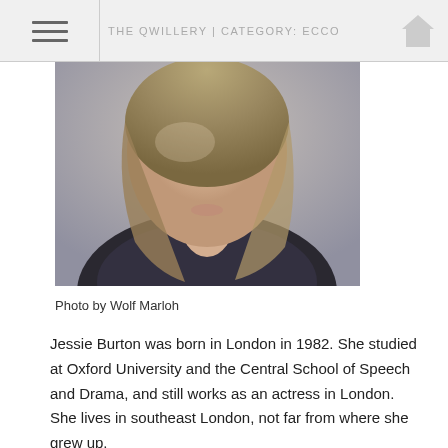THE QWILLERY | CATEGORY: ECCO
[Figure (photo): Close-up portrait photo of a woman with long brown/blonde hair, wearing a dark top, photographed from chin/neck area up. Photo by Wolf Marloh.]
Photo by Wolf Marloh
Jessie Burton was born in London in 1982. She studied at Oxford University and the Central School of Speech and Drama, and still works as an actress in London. She lives in southeast London, not far from where she grew up.